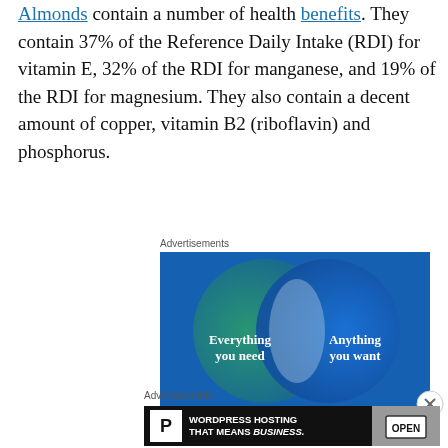Almonds contain a number of health benefits. They contain 37% of the Reference Daily Intake (RDI) for vitamin E, 32% of the RDI for manganese, and 19% of the RDI for magnesium. They also contain a decent amount of copper, vitamin B2 (riboflavin) and phosphorus.
Advertisements
[Figure (illustration): Advertisement banner with Venn diagram showing two overlapping circles on a blue-green background. Left circle labeled 'Everything you need', right circle labeled 'Anything you want'.]
Advertisements
[Figure (illustration): Advertisement banner for WordPress Hosting. Black background with 'P' parking icon, text 'WORDPRESS HOSTING THAT MEANS BUSINESS.' and a photo of an OPEN sign.]